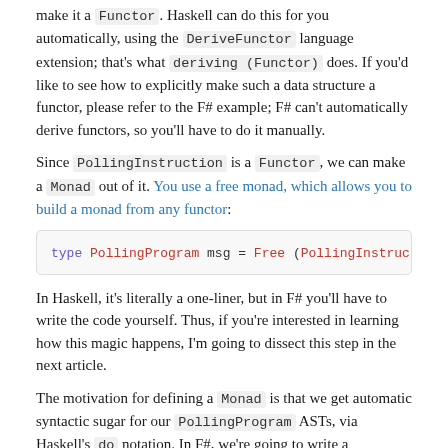make it a Functor. Haskell can do this for you automatically, using the DeriveFunctor language extension; that's what deriving (Functor) does. If you'd like to see how to explicitly make such a data structure a functor, please refer to the F# example; F# can't automatically derive functors, so you'll have to do it manually.
Since PollingInstruction is a Functor, we can make a Monad out of it. You use a free monad, which allows you to build a monad from any functor:
type PollingProgram msg = Free (PollingInstruction m
In Haskell, it's literally a one-liner, but in F# you'll have to write the code yourself. Thus, if you're interested in learning how this magic happens, I'm going to dissect this step in the next article.
The motivation for defining a Monad is that we get automatic syntactic sugar for our PollingProgram ASTs, via Haskell's do notation. In F#, we're going to write a computation expression builder to achieve the same effect.
The final building blocks for the specialised PollingProgram API is a convenience function for each case: